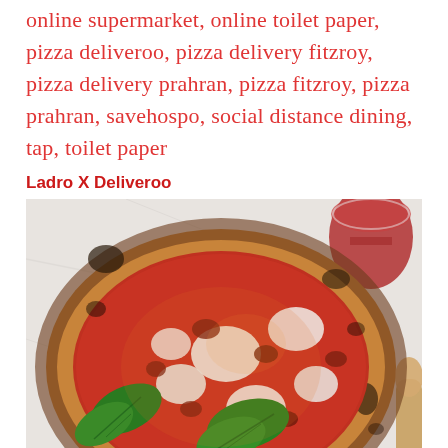online supermarket, online toilet paper, pizza deliveroo, pizza delivery fitzroy, pizza delivery prahran, pizza fitzroy, pizza prahran, savehospo, social distance dining, tap, toilet paper
Ladro X Deliveroo
[Figure (photo): Overhead close-up photo of a Neapolitan-style pizza with tomato sauce, melted mozzarella, basil leaves, and charred crust, on a white marble surface. A glass of red wine is visible in the upper right corner, and a wooden spoon in the lower right corner.]